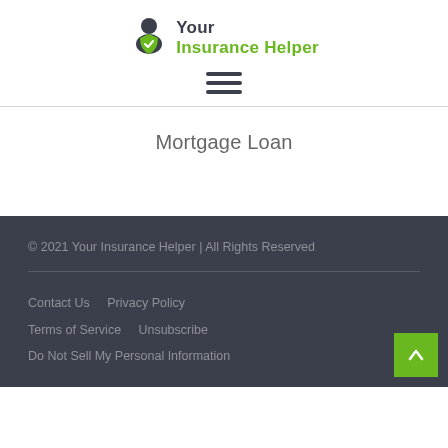[Figure (logo): Your Insurance Helper logo with person+shield icon in dark grey and green, company name 'Your Insurance Helper' with 'Your' in dark and 'Insurance Helper' in green]
[Figure (other): Hamburger menu icon (three horizontal dark grey lines)]
Mortgage Loan
© 2021 Your Insurance Helper | All Rights Reserved
Contact Us   Privacy Policy   Terms of Service   Unsubscribe   Do Not Sell My Personal Information